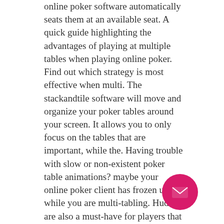online poker software automatically seats them at an available seat. A quick guide highlighting the advantages of playing at multiple tables when playing online poker. Find out which strategy is most effective when multi. The stackandtile software will move and organize your poker tables around your screen. It allows you to only focus on the tables that are important, while the. Having trouble with slow or non-existent poker table animations? maybe your online poker client has frozen up while you are multi-tabling. Huds are also a must-have for players that enjoy multi-tabling. This is a discussion on poker hud multi tabling micro stakes within the online poker forums, in the poker software &amp; tools section;. I answer three of your questions about how to add more tables to your online poker sessions, actually doing work off-the-fa color. Find the best poker tools and software
[Figure (other): Pink/magenta circular button with a white envelope/mail icon]